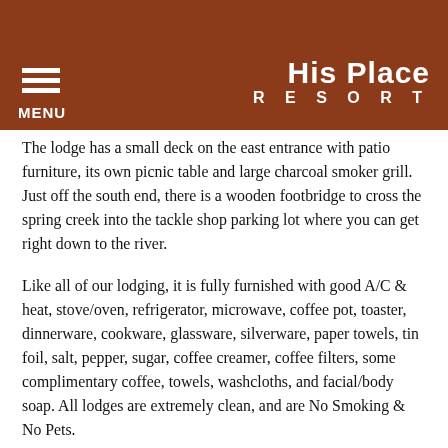bring a twin air mattress if necessary; we will be happy to provide linens for it. (Max 5 persons.)
HIS PLACE RESORT
The lodge has a small deck on the east entrance with patio furniture, its own picnic table and large charcoal smoker grill. Just off the south end, there is a wooden footbridge to cross the spring creek into the tackle shop parking lot where you can get right down to the river.
Like all of our lodging, it is fully furnished with good A/C & heat, stove/oven, refrigerator, microwave, coffee pot, toaster, dinnerware, cookware, glassware, silverware, paper towels, tin foil, salt, pepper, sugar, coffee creamer, coffee filters, some complimentary coffee, towels, washcloths, and facial/body soap. All lodges are extremely clean, and are No Smoking & No Pets.
The phone company recently installed a fiber optic, remotely managed WIFI system throughout the resort with 24/7 Tech support. We now have excellent WIFI coverage in all lodging, and can now offer both Free and Premium WIFI. This new installation